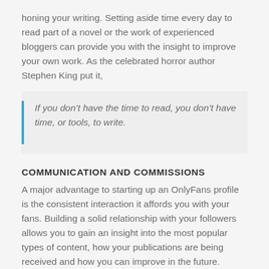honing your writing. Setting aside time every day to read part of a novel or the work of experienced bloggers can provide you with the insight to improve your own work. As the celebrated horror author Stephen King put it,
If you don’t have the time to read, you don’t have time, or tools, to write.
COMMUNICATION AND COMMISSIONS
A major advantage to starting up an OnlyFans profile is the consistent interaction it affords you with your fans. Building a solid relationship with your followers allows you to gain an insight into the most popular types of content, how your publications are being received and how you can improve in the future.
As a writer, capitalising on this ability is an invaluable asset to keeping your writing profitable. Prior the internet, the only